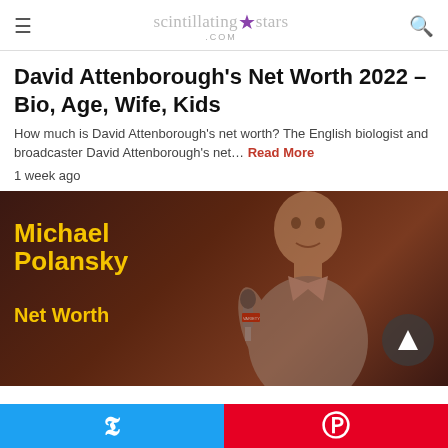scintillating stars .com
David Attenborough's Net Worth 2022 – Bio, Age, Wife, Kids
How much is David Attenborough's net worth? The English biologist and broadcaster David Attenborough's net…
1 week ago
[Figure (photo): Michael Polansky Net Worth thumbnail image showing a man holding a microphone against a dark brown background with yellow text overlay reading 'Michael Polansky Net Worth']